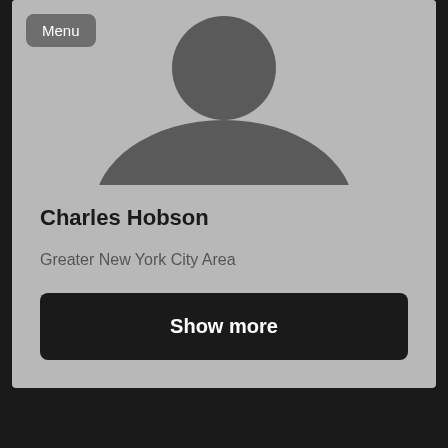[Figure (photo): Profile silhouette placeholder image showing a generic person outline in gray tones]
Menu
Charles Hobson
Greater New York City Area
Broadcast Media
Show more